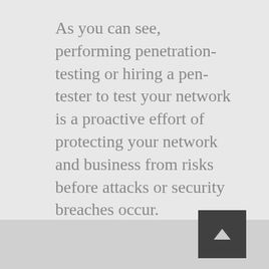As you can see, performing penetration-testing or hiring a pen-tester to test your network is a proactive effort of protecting your network and business from risks before attacks or security breaches occur.